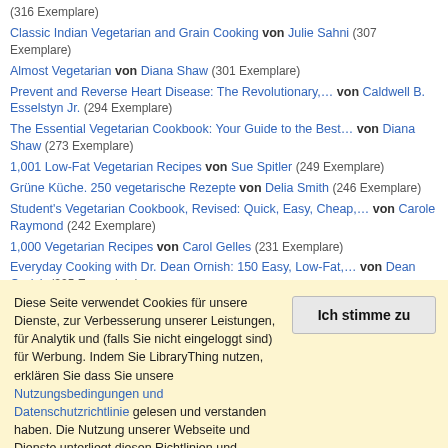(316 Exemplare)
Classic Indian Vegetarian and Grain Cooking von Julie Sahni (307 Exemplare)
Almost Vegetarian von Diana Shaw (301 Exemplare)
Prevent and Reverse Heart Disease: The Revolutionary,… von Caldwell B. Esselstyn Jr. (294 Exemplare)
The Essential Vegetarian Cookbook: Your Guide to the Best… von Diana Shaw (273 Exemplare)
1,001 Low-Fat Vegetarian Recipes von Sue Spitler (249 Exemplare)
Grüne Küche. 250 vegetarische Rezepte von Delia Smith (246 Exemplare)
Student's Vegetarian Cookbook, Revised: Quick, Easy, Cheap,… von Carole Raymond (242 Exemplare)
1,000 Vegetarian Recipes von Carol Gelles (231 Exemplare)
Everyday Cooking with Dr. Dean Ornish: 150 Easy, Low-Fat,… von Dean Ornish (225 Exemplare)
Diese Seite verwendet Cookies für unsere Dienste, zur Verbesserung unserer Leistungen, für Analytik und (falls Sie nicht eingeloggt sind) für Werbung. Indem Sie LibraryThing nutzen, erklären Sie dass Sie unsere Nutzungsbedingungen und Datenschutzrichtlinie gelesen und verstanden haben. Die Nutzung unserer Webseite und Dienste unterliegt diesen Richtlinien und Geschäftsbedingungen.